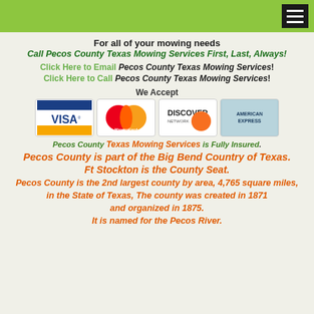For all of your mowing needs
Call Pecos County Texas Mowing Services First, Last, Always!
Click Here to Email Pecos County Texas Mowing Services!
Click Here to Call Pecos County Texas Mowing Services!
We Accept
[Figure (logo): Payment card logos: Visa, MasterCard, Discover Network, American Express]
Pecos County Texas Mowing Services is Fully Insured.
Pecos County is part of the Big Bend Country of Texas.
Ft Stockton is the County Seat.
Pecos County is the 2nd largest county by area, 4,765 square miles, in the State of Texas, The county was created in 1871 and organized in 1875. It is named for the Pecos River.